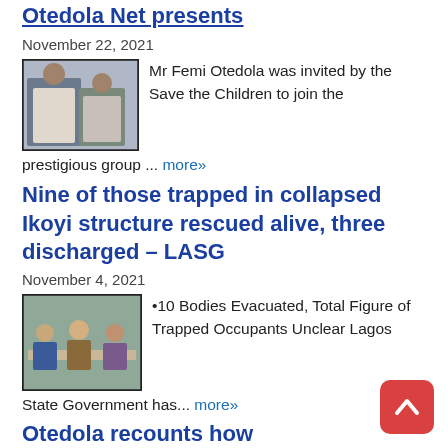Otedola Net presents
November 22, 2021
[Figure (photo): Photo of two men, one in a suit]
Mr Femi Otedola was invited by the Save the Children to join the prestigious group ... more»
Nine of those trapped in collapsed Ikoyi structure rescued alive, three discharged – LASG
November 4, 2021
[Figure (photo): Photo of people seated at a table in official setting]
•10 Bodies Evacuated, Total Figure of Trapped Occupants Unclear Lagos State Government has... more»
Otedola recounts how